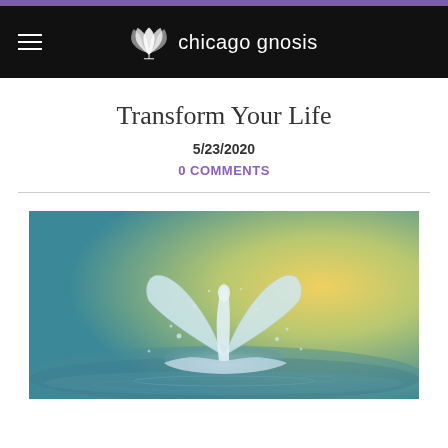chicago gnosis
Transform Your Life
5/23/2020
0 COMMENTS
[Figure (photo): A water splash in the shape of a butterfly with wings spread, against a teal and golden yellow gradient background, with water droplets visible around it.]